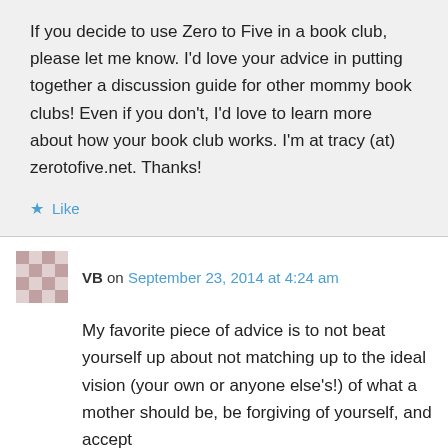If you decide to use Zero to Five in a book club, please let me know. I'd love your advice in putting together a discussion guide for other mommy book clubs! Even if you don't, I'd love to learn more about how your book club works. I'm at tracy (at) zerotofive.net. Thanks!
★ Like
VB on September 23, 2014 at 4:24 am
My favorite piece of advice is to not beat yourself up about not matching up to the ideal vision (your own or anyone else's!) of what a mother should be, be forgiving of yourself, and accept...